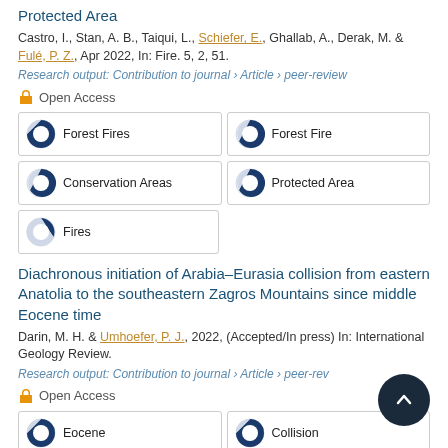Protected Area
Castro, I., Stan, A. B., Taiqui, L., Schiefer, E., Ghallab, A., Derak, M. & Fulé, P. Z., Apr 2022, In: Fire. 5, 2, 51.
Research output: Contribution to journal › Article › peer-review
Open Access
Forest Fires | Forest Fire | Conservation Areas | Protected Area | Fires
Diachronous initiation of Arabia–Eurasia collision from eastern Anatolia to the southeastern Zagros Mountains since middle Eocene time
Darin, M. H. & Umhoefer, P. J., 2022, (Accepted/In press) In: International Geology Review.
Research output: Contribution to journal › Article › peer-review
Open Access
Eocene | Collision